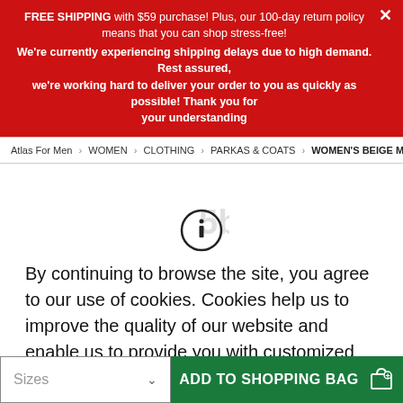FREE SHIPPING with $59 purchase! Plus, our 100-day return policy means that you can shop stress-free!
We're currently experiencing shipping delays due to high demand. Rest assured, we're working hard to deliver your order to you as quickly as possible! Thank you for your understanding
Atlas For Men > WOMEN > CLOTHING > PARKAS & COATS > WOMEN'S BEIGE MICROTECH PA
[Figure (illustration): Cookie consent icon — a circle with an 'i' information symbol inside]
By continuing to browse the site, you agree to our use of cookies. Cookies help us to improve the quality of our website and enable us to provide you with customized offers and social sharing options. More details.
Sizes
ADD TO SHOPPING BAG